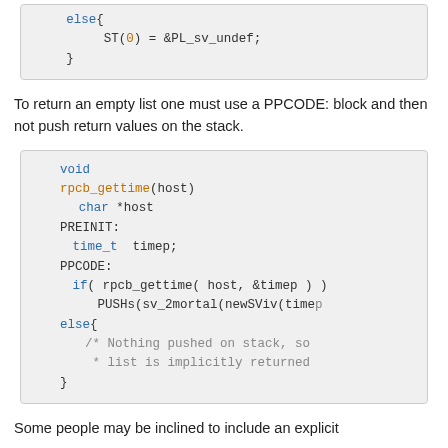[Figure (screenshot): Code block showing else{ ST(0) = &PL_sv_undef; }]
To return an empty list one must use a PPCODE: block and then not push return values on the stack.
[Figure (screenshot): Code block showing void rpcb_gettime(host) char *host PREINIT: time_t timep; PPCODE: if( rpcb_gettime( host, &timep ) ) PUSHs(sv_2mortal(newSViv(timep... else{ /* Nothing pushed on stack, so * list is implicitly returned }]
Some people may be inclined to include an explicit